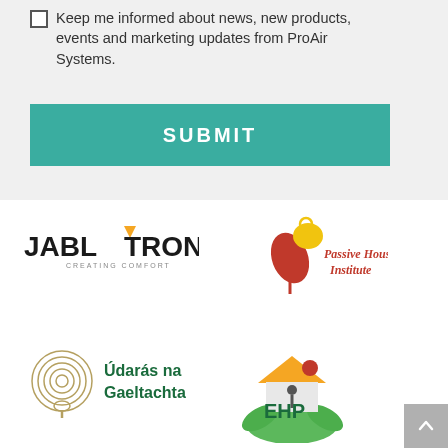Keep me informed about news, new products, events and marketing updates from ProAir Systems.
SUBMIT
[Figure (logo): Jablotron Creating Comfort logo — black text with orange triangle accent on the O]
[Figure (logo): Passive House Institute logo — red and yellow bird/sprout figure with red italic text]
[Figure (logo): Údarás na Gaeltachta logo — circular golden pin/location icon with text]
[Figure (logo): EHP logo — house icon with green leaves and EHP text]